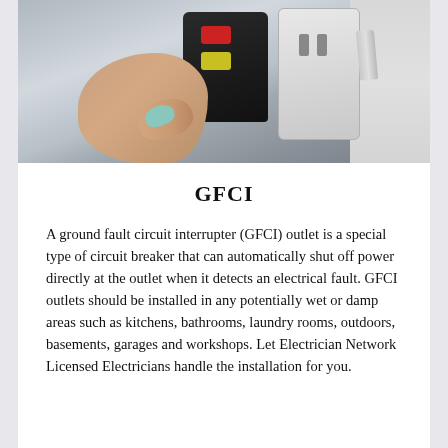[Figure (photo): A hand with teal-painted fingernail holding a black GFCI tester device being plugged into a white electrical outlet mounted on a wall.]
GFCI
A ground fault circuit interrupter (GFCI) outlet is a special type of circuit breaker that can automatically shut off power directly at the outlet when it detects an electrical fault. GFCI outlets should be installed in any potentially wet or damp areas such as kitchens, bathrooms, laundry rooms, outdoors, basements, garages and workshops. Let Electrician Network Licensed Electricians handle the installation for you.